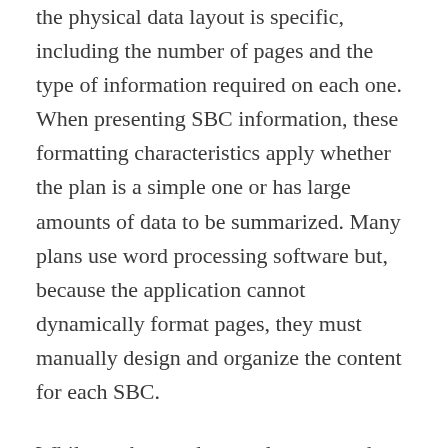the physical data layout is specific, including the number of pages and the type of information required on each one. When presenting SBC information, these formatting characteristics apply whether the plan is a simple one or has large amounts of data to be summarized. Many plans use word processing software but, because the application cannot dynamically format pages, they must manually design and organize the content for each SBC.
While workaround manual processes have met the compliance requirements of the market from 2012 to the present, they are nevertheless prone to significant inefficiencies and potential